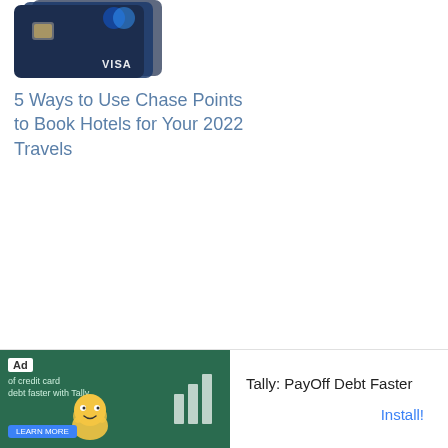[Figure (photo): Chase credit cards stacked, dark/navy blue with VISA branding and chip visible]
5 Ways to Use Chase Points to Book Hotels for Your 2022 Travels
[Figure (other): Advertisement banner: Tally PayOff Debt Faster app ad with green background, cartoon mascot, bar chart icon, and Install button]